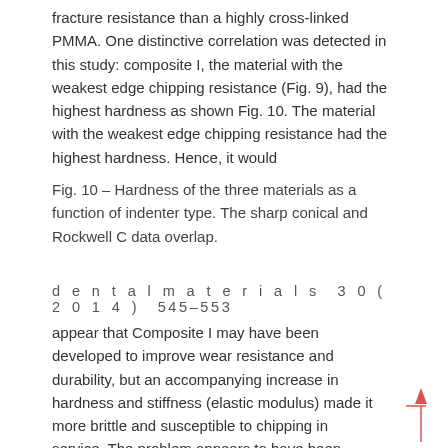fracture resistance than a highly cross-linked PMMA. One distinctive correlation was detected in this study: composite I, the material with the weakest edge chipping resistance (Fig. 9), had the highest hardness as shown Fig. 10. The material with the weakest edge chipping resistance had the highest hardness. Hence, it would
Fig. 10 – Hardness of the three materials as a function of indenter type. The sharp conical and Rockwell C data overlap.
d e n t a l m a t e r i a l s 3 0 ( 2 0 1 4 ) 545–553
appear that Composite I may have been developed to improve wear resistance and durability, but an accompanying increase in hardness and stiffness (elastic modulus) made it more brittle and susceptible to chipping in service. The problem appears to have been rectified by Composite II. For illustrative purposes only, some denture teeth were chipped by a 5 mm ball directly contacting the incisal edges. This is shown in Supplemental Fig. 2 in the on-line version of this paper. Although the chips that